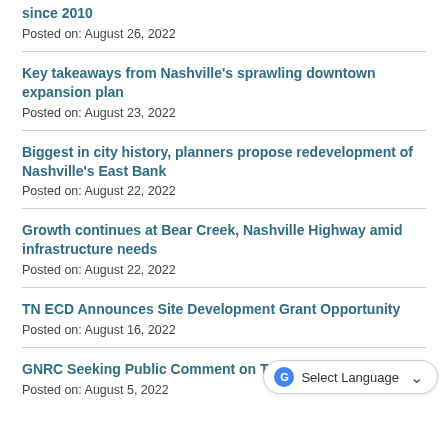since 2010
Posted on: August 26, 2022
Key takeaways from Nashville's sprawling downtown expansion plan
Posted on: August 23, 2022
Biggest in city history, planners propose redevelopment of Nashville's East Bank
Posted on: August 22, 2022
Growth continues at Bear Creek, Nashville Highway amid infrastructure needs
Posted on: August 22, 2022
TN ECD Announces Site Development Grant Opportunity
Posted on: August 16, 2022
GNRC Seeking Public Comment on TIP Amendments
Posted on: August 5, 2022